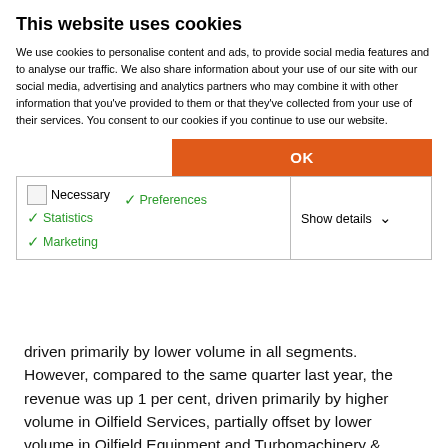This website uses cookies
We use cookies to personalise content and ads, to provide social media features and to analyse our traffic. We also share information about your use of our site with our social media, advertising and analytics partners who may combine it with other information that you've provided to them or that they've collected from your use of their services. You consent to our cookies if you continue to use our website.
| Necessary | Preferences | Statistics | Show details |
| Marketing |  |  |  |
driven primarily by lower volume in all segments. However, compared to the same quarter last year, the revenue was up 1 per cent, driven primarily by higher volume in Oilfield Services, partially offset by lower volume in Oilfield Equipment and Turbomachinery & Process Solutions.
“Despite some of the challenges, we are